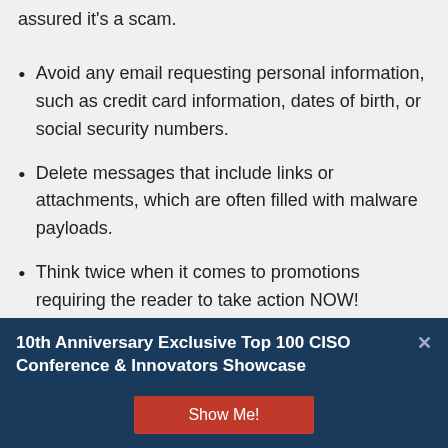assured it's a scam.
Avoid any email requesting personal information, such as credit card information, dates of birth, or social security numbers.
Delete messages that include links or attachments, which are often filled with malware payloads.
Think twice when it comes to promotions requiring the reader to take action NOW! Scammers try to get their targets to act
10th Anniversary Exclusive Top 100 CISO Conference & Innovators Showcase
Show Me!